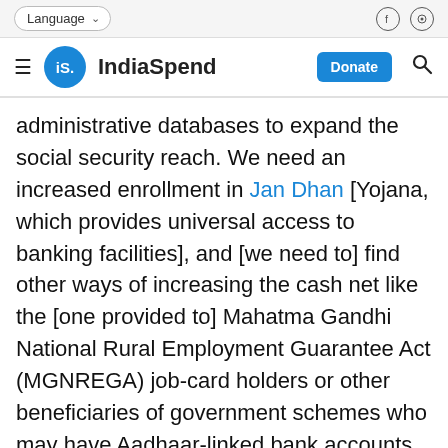Language | [social icons: facebook, youtube]
IndiaSpend | Donate | Search
administrative databases to expand the social security reach. We need an increased enrollment in Jan Dhan [Yojana, which provides universal access to banking facilities], and [we need to] find other ways of increasing the cash net like the [one provided to] Mahatma Gandhi National Rural Employment Guarantee Act (MGNREGA) job-card holders or other beneficiaries of government schemes who may have Aadhaar-linked bank accounts. All these can be pressed into service for delivering future